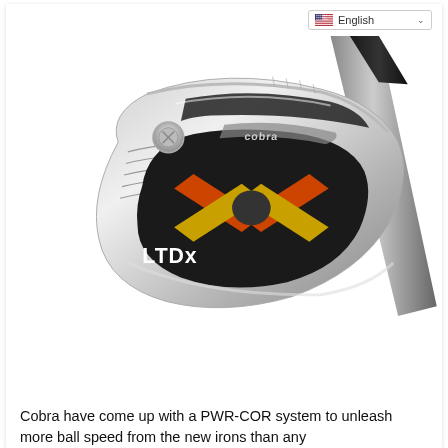English
[Figure (photo): Cobra LTDx iron golf club head, chrome/silver finish with black and orange/gold accents, shown at an angle with the shaft extending to the upper right. The club face shows 'LTDx' branding and 'cobra' logo.]
Cobra have come up with a PWR-COR system to unleash more ball speed from the new irons than any